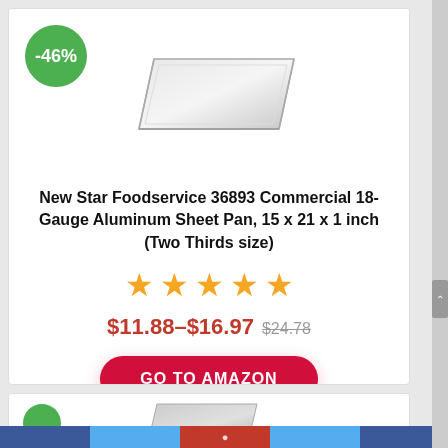[Figure (photo): Product card showing an aluminum sheet pan with -46% discount badge. Green circular badge with -46% text in top left, product image of silver sheet pan in center.]
New Star Foodservice 36893 Commercial 18-Gauge Aluminum Sheet Pan, 15 x 21 x 1 inch (Two Thirds size)
[Figure (other): 5 orange/gold star rating icons]
$11.88–$16.97 $24.78
GO TO AMAZON
[Figure (photo): Partial view of second product card with green discount badge and product image]